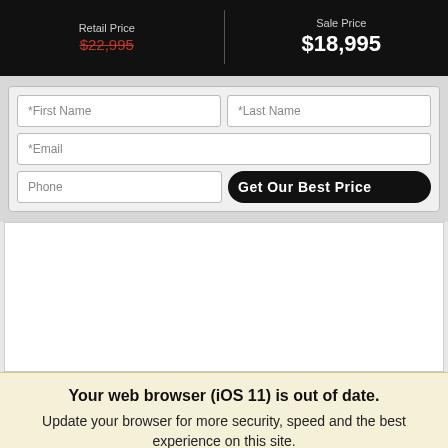[Figure (screenshot): Price bar showing Retail Price $22,995 (strikethrough) and Sale Price $18,995 on black background]
[Figure (screenshot): Web form with fields: *First Name, *Last Name, *Email, Phone, and Get Our Best Price button]
[Figure (screenshot): Empty white content box]
Your web browser (iOS 11) is out of date. Update your browser for more security, speed and the best experience on this site.
[Figure (screenshot): Buttons: Update browser (green) and Ignore (orange)]